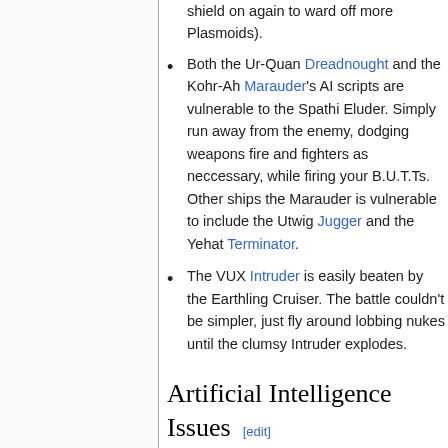shield on again to ward off more Plasmoids).
Both the Ur-Quan Dreadnought and the Kohr-Ah Marauder's AI scripts are vulnerable to the Spathi Eluder. Simply run away from the enemy, dodging weapons fire and fighters as neccessary, while firing your B.U.T.Ts. Other ships the Marauder is vulnerable to include the Utwig Jugger and the Yehat Terminator.
The VUX Intruder is easily beaten by the Earthling Cruiser. The battle couldn't be simpler, just fly around lobbing nukes until the clumsy Intruder explodes.
Artificial Intelligence Issues [edit]
The computer opponent is very